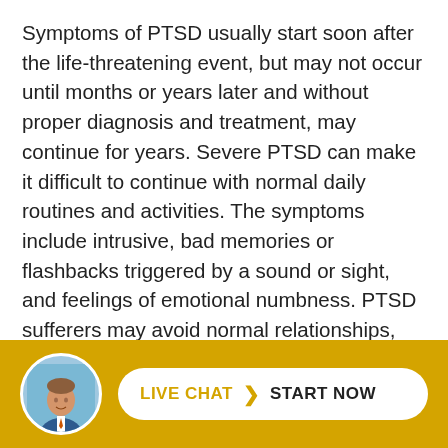Symptoms of PTSD usually start soon after the life-threatening event, but may not occur until months or years later and without proper diagnosis and treatment, may continue for years. Severe PTSD can make it difficult to continue with normal daily routines and activities. The symptoms include intrusive, bad memories or flashbacks triggered by a sound or sight, and feelings of emotional numbness. PTSD sufferers may avoid normal relationships, avoid situations that trigger memories of the event, or feel anxious and be always on the lookout for danger.
There are four types of PTSD
[Figure (photo): Circular avatar photo of a man in a suit with a tie, used for live chat widget]